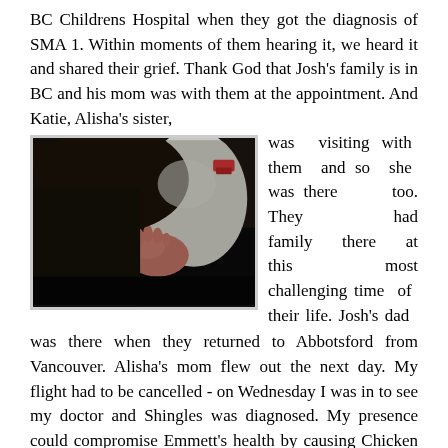BC Childrens Hospital when they got the diagnosis of SMA 1. Within moments of them hearing it, we heard it and shared their grief. Thank God that Josh's family is in BC and his mom was with them at the appointment. And Katie, Alisha's sister, was visiting with them and so she was there too. They had family there at this most challenging time of their life. Josh's dad was there when they returned to Abbotsford from Vancouver. Alisha's mom flew out the next day. My flight had to be cancelled - on Wednesday I was in to see my doctor and Shingles was diagnosed. My presence could compromise Emmett's health by causing Chicken Pox - so
[Figure (photo): A dark, close-up photo of what appears to be an infant's hand and body, with an adult leaning over the baby. The baby is wearing a light-colored onesie with a small vehicle print. The image is dimly lit with dark tones.]